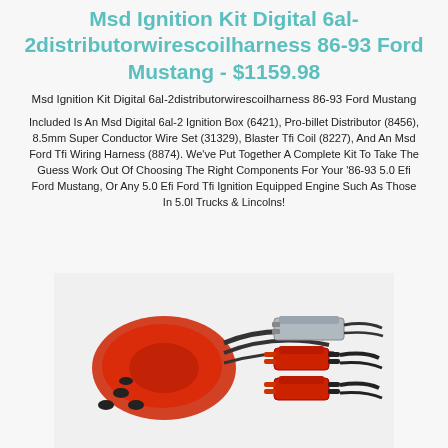Msd Ignition Kit Digital 6al-2distributorwirescoilharness 86-93 Ford Mustang - $1159.98
Msd Ignition Kit Digital 6al-2distributorwirescoilharness 86-93 Ford Mustang
Included Is An Msd Digital 6al-2 Ignition Box (6421), Pro-billet Distributor (8456), 8.5mm Super Conductor Wire Set (31329), Blaster Tfi Coil (8227), And An Msd Ford Tfi Wiring Harness (8874). We've Put Together A Complete Kit To Take The Guess Work Out Of Choosing The Right Components For Your '86-93 5.0 Efi Ford Mustang, Or Any 5.0 Efi Ford Tfi Ignition Equipped Engine Such As Those In 5.0l Trucks & Lincolns!
[Figure (photo): Photo of MSD ignition kit components including red spark plug wires, red ignition box, and wiring harness on a white background]